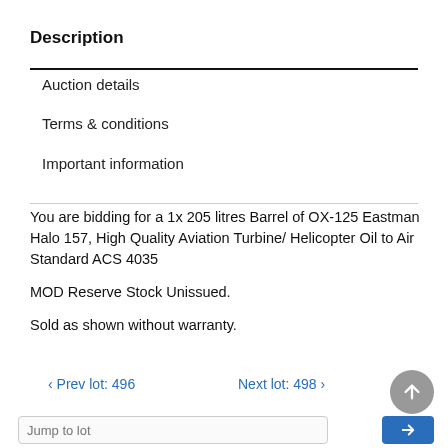Description
Auction details
Terms & conditions
Important information
You are bidding for a 1x 205 litres Barrel of OX-125 Eastman Halo 157, High Quality Aviation Turbine/ Helicopter Oil to Air Standard ACS 4035
MOD Reserve Stock Unissued.
Sold as shown without warranty.
< Prev lot: 496    Next lot: 498 >